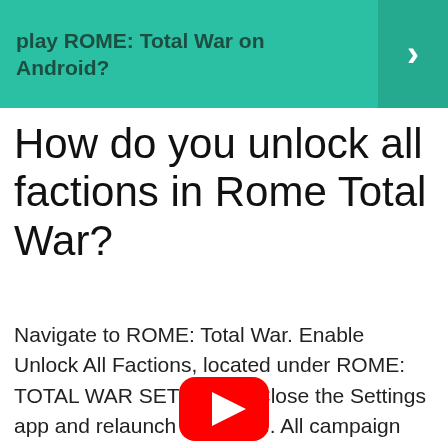play ROME: Total War on Android?
How do you unlock all factions in Rome Total War?
Navigate to ROME: Total War. Enable Unlock All Factions, located under ROME: TOTAL WAR SETTINGS. Close the Settings app and relaunch the game. All campaign factions will now be unlocked when starting a new Imperial Campaign.
[Figure (logo): YouTube play button logo — red rounded rectangle with white triangle play icon]